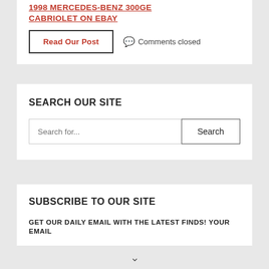1998 MERCEDES-BENZ 300GE CABRIOLET ON EBAY
Read Our Post
Comments closed
SEARCH OUR SITE
Search for...
Search
SUBSCRIBE TO OUR SITE
GET OUR DAILY EMAIL WITH THE LATEST FINDS! YOUR EMAIL